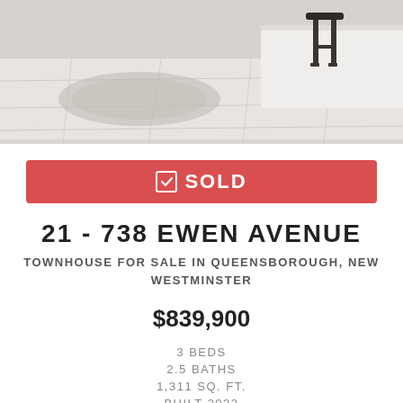[Figure (photo): Interior photo of a modern kitchen/living area with light grey tile flooring, a bar stool visible at a kitchen island, and a patterned rug in the background.]
✅ SOLD
21 - 738 EWEN AVENUE
TOWNHOUSE FOR SALE IN QUEENSBOROUGH, NEW WESTMINSTER
$839,900
3 BEDS
2.5 BATHS
1,311 SQ. FT.
BUILT 2022